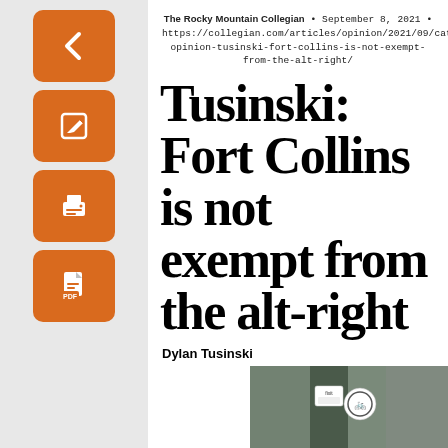The Rocky Mountain Collegian • September 8, 2021 • https://collegian.com/articles/opinion/2021/09/cat opinion-tusinski-fort-collins-is-not-exempt-from-the-alt-right/
Tusinski: Fort Collins is not exempt from the alt-right
Dylan Tusinski
[Figure (photo): A street pole with stickers including a 'fixit' sticker with a QR code and a bicycle symbol sticker]